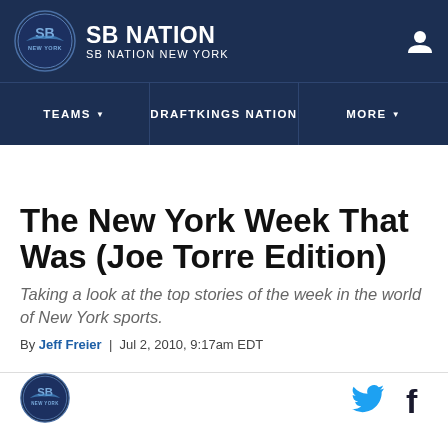SB NATION / SB NATION NEW YORK
The New York Week That Was (Joe Torre Edition)
Taking a look at the top stories of the week in the world of New York sports.
By Jeff Freier | Jul 2, 2010, 9:17am EDT